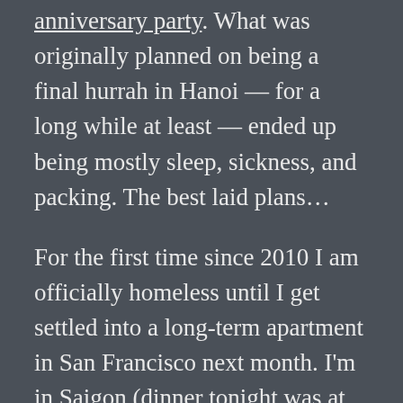anniversary party. What was originally planned on being a final hurrah in Hanoi — for a long while at least — ended up being mostly sleep, sickness, and packing. The best laid plans...
For the first time since 2010 I am officially homeless until I get settled into a long-term apartment in San Francisco next month. I'm in Saigon (dinner tonight was at Park Hyatt Saigon with Chánh, naturally) for a few days to say a few goodbyes, and then it's off to the United States with two check-ins and two carry-ons.
I'm not sure if I'll ever call Vietnam home again but I suspect that giving a solid Yes or No to the question will end up in me being wrong, as has